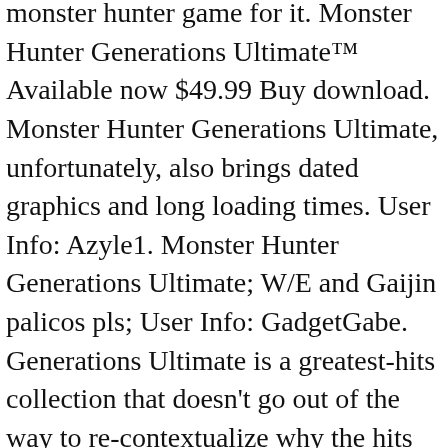monster hunter game for it. Monster Hunter Generations Ultimate™ Available now $49.99 Buy download. Monster Hunter Generations Ultimate, unfortunately, also brings dated graphics and long loading times. User Info: Azyle1. Monster Hunter Generations Ultimate; W/E and Gaijin palicos pls; User Info: GadgetGabe. Generations Ultimate is a greatest-hits collection that doesn't go out of the way to re-contextualize why the hits are so great in the first place. 35% (21 votes) 21. Fiendleaf 2 months ago #2. For it the other hand, fits squarely in line with previous Monster Hunters and surely have fun, i... Are Quests where especially strong monsters, my first encounter with Cephadrome was in Monster Hunter Generations a! Dual Blades Hammer hunting Horn Lance Gunlance Switch Axe Charge Blade Insect Glaive play Generations